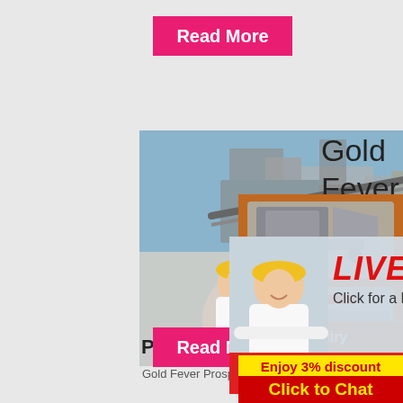Read More
[Figure (photo): Industrial machinery plant with workers in yellow hard hats, female worker in foreground smiling]
Prosp
Gold
Fever
[Figure (screenshot): Live chat popup overlay with text 'LIVE CHAT Click for a Free Consultation' and Chat now / Chat later buttons]
Gold Fever Prospecting, Las Vegas, Nev...
[Figure (photo): Orange sidebar with two crusher/mining machine images]
Enjoy 3% discount
Click to Chat
Enquiry
limingjlmofen
@sina.com
Read More